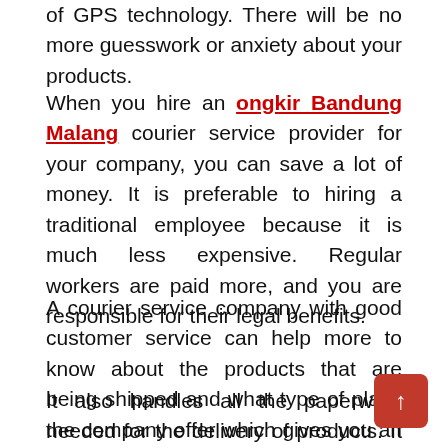of GPS technology. There will be no more guesswork or anxiety about your products.
When you hire an ongkir Bandung Malang courier service provider for your company, you can save a lot of money. It is preferable to hiring a traditional employee because it is much less expensive. Regular workers are paid more, and you are responsible for their legal benefits.
A courier service company with good customer service can help more to know about the products that are being shipped and what type of plans the company offer which gives you an idea about shipping products.
It also handles all the paperwork needed for the delivery of products. It also manages all the work the accounting department which has been overloaded in